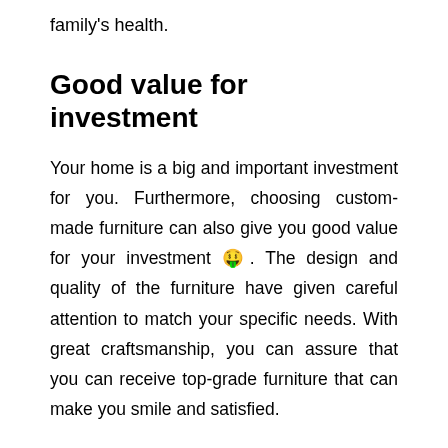family's health.
Good value for investment
Your home is a big and important investment for you. Furthermore, choosing custom-made furniture can also give you good value for your investment 🤑. The design and quality of the furniture have given careful attention to match your specific needs. With great craftsmanship, you can assure that you can receive top-grade furniture that can make you smile and satisfied.